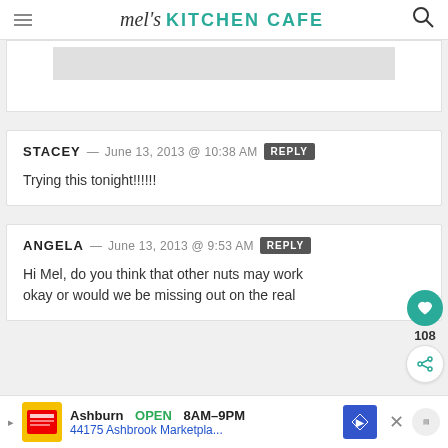mel's KITCHEN CAFE
[Figure (screenshot): Truncated top of a previous comment card with gray image area]
STACEY — JUNE 13, 2013 @ 10:38 AM REPLY
Trying this tonight!!!!!!
ANGELA — JUNE 13, 2013 @ 9:53 AM REPLY
Hi Mel, do you think that other nuts may work okay or would we be missing out on the real
Ashburn OPEN 8AM–9PM 44175 Ashbrook Marketpla...